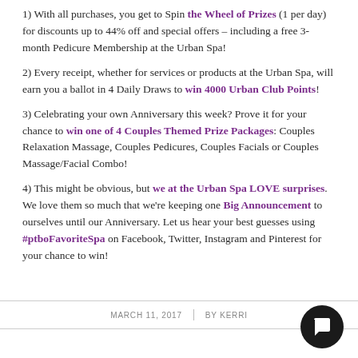1) With all purchases, you get to Spin the Wheel of Prizes (1 per day) for discounts up to 44% off and special offers – including a free 3-month Pedicure Membership at the Urban Spa!
2) Every receipt, whether for services or products at the Urban Spa, will earn you a ballot in 4 Daily Draws to win 4000 Urban Club Points!
3) Celebrating your own Anniversary this week? Prove it for your chance to win one of 4 Couples Themed Prize Packages: Couples Relaxation Massage, Couples Pedicures, Couples Facials or Couples Massage/Facial Combo!
4) This might be obvious, but we at the Urban Spa LOVE surprises. We love them so much that we're keeping one Big Announcement to ourselves until our Anniversary. Let us hear your best guesses using #ptboFavoriteSpa on Facebook, Twitter, Instagram and Pinterest for your chance to win!
MARCH 11, 2017 | BY KERRI